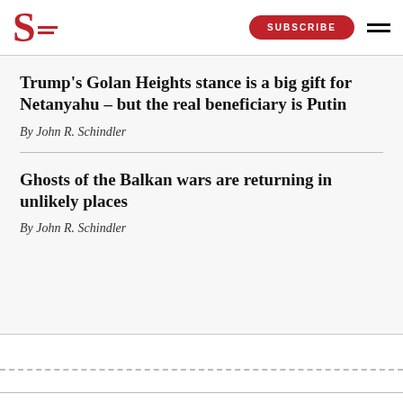S [logo] SUBSCRIBE [hamburger menu]
Trump's Golan Heights stance is a big gift for Netanyahu – but the real beneficiary is Putin
By John R. Schindler
Ghosts of the Balkan wars are returning in unlikely places
By John R. Schindler